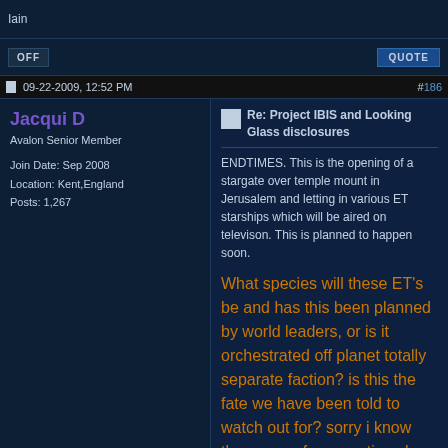Iain
OFF | QUOTE
09-22-2009, 12:52 PM #186
Jacqui D
Avalon Senior Member
Join Date: Sep 2008
Location: Kent,England
Posts: 1,267
Re: Project IBIS and Looking Glass disclosures
ENDTIMES. This is the opening of a stargate over temple mount in Jerusalem and letting in various ET starships which will be aired on televison. This is planned to happen soon.
What species will these ET's be and has this been planned by world leaders, or is it orchestrated off planet totally separate faction? is this the fate we have been told to watch out for? sorry i know there are a few questions here but all important!
OFF | QUOTE